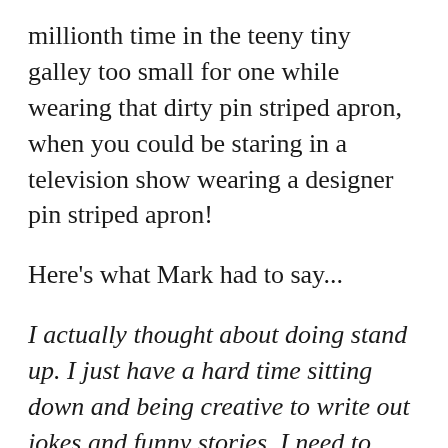millionth time in the teeny tiny galley too small for one while wearing that dirty pin striped apron, when you could be staring in a television show wearing a designer pin striped apron!
Here's what Mark had to say...
I actually thought about doing stand up. I just have a hard time sitting down and being creative to write out jokes and funny stories. I need to take one of those beginner classes given at the Improv Comedy club to get some pointers. Of course I am much funnier when I